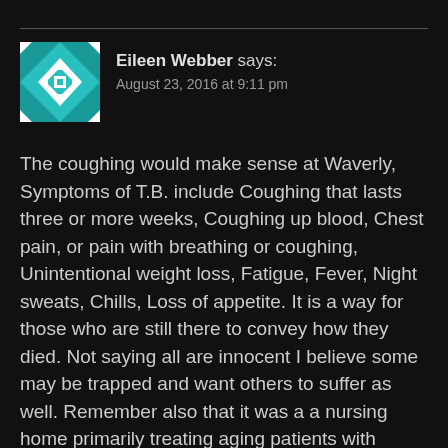[Figure (illustration): Teal and white geometric/quilt pattern avatar image for user Eileen Webber]
Eileen Webber says: August 23, 2016 at 9:11 pm
The coughing would make sense at Waverly, Symptoms of T.B. include Coughing that lasts three or more weeks, Coughing up blood, Chest pain, or pain with breathing or coughing, Unintentional weight loss, Fatigue, Fever, Night sweats, Chills, Loss of appetite. It is a way for those who are still there to convey how they died. Not saying all are innocent I believe some may be trapped and want others to suffer as well. Remember also that it was a a nursing home primarily treating aging patients with various stages of dementia and mobility limits, as well as the severely mentally handicapped many of which were